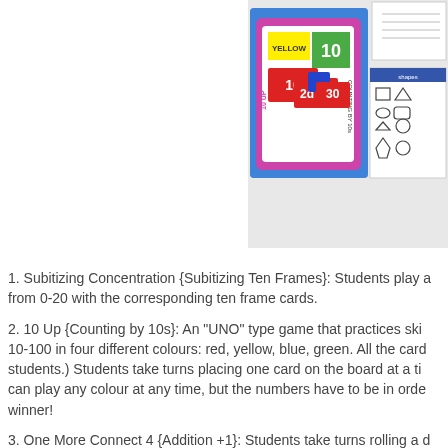[Figure (illustration): Educational math card game materials showing colorful cards with numbers and shapes on a blue patterned background, alongside worksheets with shapes.]
1. Subitizing Concentration {Subitizing Ten Frames}: Students play a from 0-20 with the corresponding ten frame cards.
2. 10 Up {Counting by 10s}: An "UNO" type game that practices ski 10-100 in four different colours: red, yellow, blue, green. All the card students.) Students take turns placing one card on the board at a ti can play any colour at any time, but the numbers have to be in orde winner!
3. One More Connect 4 {Addition +1}: Students take turns rolling a d on the game board. The first to get four in a row (up/down, across, o
4. Tic Tac Toe Math {Subitizing & Counting}: Students "read" the nu before they can place their X or O. There are five different game boa
5. Shape Go Fish {2D Shapes}: Students play go fish by making pai